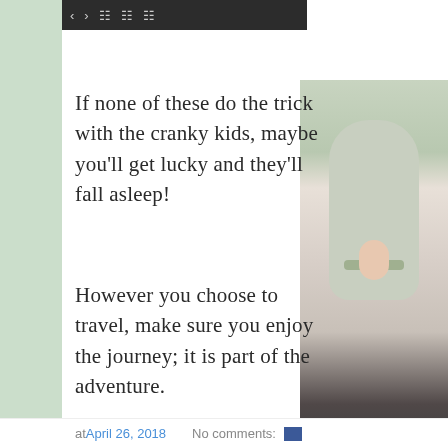[Figure (screenshot): Browser toolbar/navigation bar with dark background and navigation icons]
If none of these do the trick with the cranky kids, maybe you'll get lucky and they'll fall asleep!
[Figure (photo): Photo of a baby or toddler in a car seat, taken from inside a vehicle]
However you choose to travel, make sure you enjoy the journey; it is part of the adventure.
at April 26, 2018   No comments: